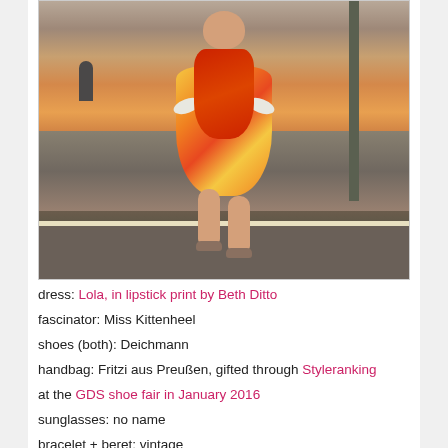[Figure (photo): A woman standing at a train station platform, wearing a colorful orange and yellow floral dress (lipstick print), a red/orange scarf, and flat shoes. She is posing with hands on hips. Train tracks and station infrastructure visible in the background.]
dress: Lola, in lipstick print by Beth Ditto
fascinator: Miss Kittenheel
shoes (both): Deichmann
handbag: Fritzi aus Preußen, gifted through Styleranking at the GDS shoe fair in January 2016
sunglasses: no name
bracelet + beret: vintage